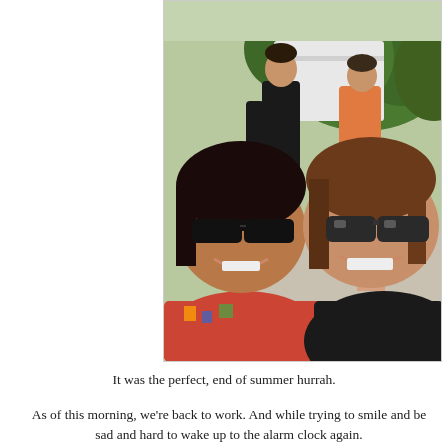[Figure (photo): Outdoor photo showing two smiling women in the foreground wearing sunglasses, taking a selfie. In the background, two men stand near a white vehicle with green bushes behind them. One man wears a black polo shirt and jeans, the other wears an orange shirt and dark shorts. The women in front are wearing colorful tops and dark sunglasses.]
It was the perfect, end of summer hurrah.
As of this morning, we're back to work.  And while trying to smile and be sad and hard to wake up to the alarm clock again.